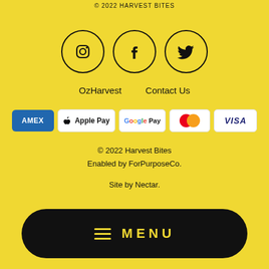© 2022 HARVEST BITES
[Figure (logo): Three social media icons in circles: Instagram, Facebook, Twitter on yellow background]
OzHarvest   Contact Us
[Figure (infographic): Payment method badges: AMEX, Apple Pay, Google Pay, Mastercard, Visa]
© 2022 Harvest Bites
Enabled by ForPurposeCo.
Site by Nectar.
MENU